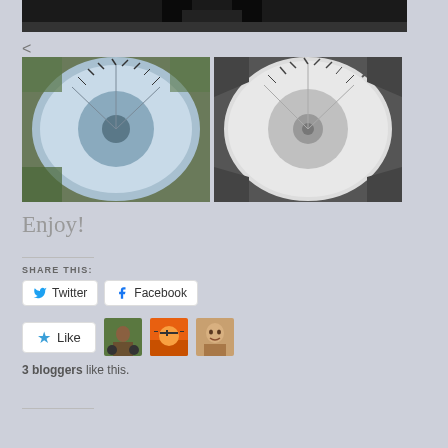[Figure (photo): Top portion of a photograph showing dark background with legs/feet visible]
<
[Figure (photo): Color photo of a tiny planet aerial photography effect - circular fisheye showing a roundabout or circular structure from above with blue sky tones]
[Figure (photo): Black and white version of the same tiny planet aerial photography effect]
Enjoy!
SHARE THIS:
Twitter
Facebook
Like
3 bloggers like this.